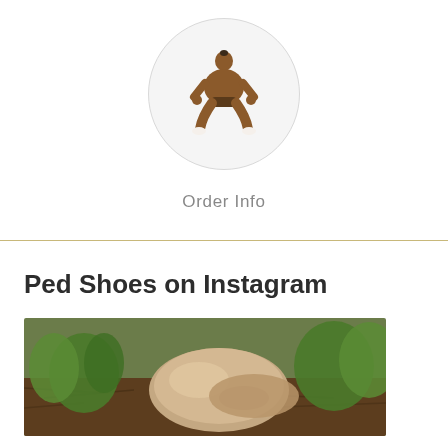[Figure (illustration): Circular avatar icon showing a sumo wrestler in a crouching stance against a light gray circle background]
Order Info
[Figure (photo): Outdoor photo showing a shoe or boot resting on a rock surrounded by green plants and brown mulch ground cover]